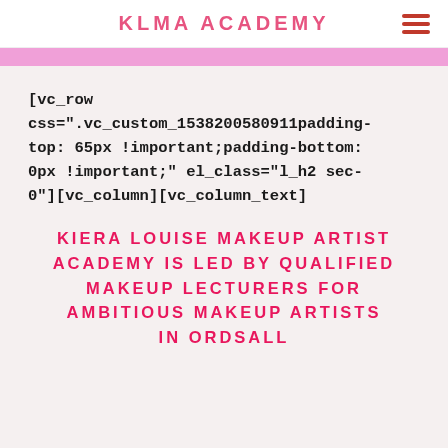KLMA ACADEMY
[vc_row css=".vc_custom_1538200580911padding-top: 65px !important;padding-bottom: 0px !important;" el_class="l_h2 sec-0"][vc_column][vc_column_text]
KIERA LOUISE MAKEUP ARTIST ACADEMY IS LED BY QUALIFIED MAKEUP LECTURERS FOR AMBITIOUS MAKEUP ARTISTS IN ORDSALL